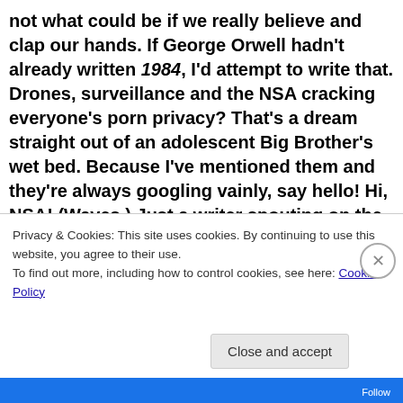not what could be if we really believe and clap our hands. If George Orwell hadn't already written 1984, I'd attempt to write that. Drones, surveillance and the NSA cracking everyone's porn privacy? That's a dream straight out of an adolescent Big Brother's wet bed. Because I've mentioned them and they're always googling vainly, say hello! Hi, NSA! (Waves.) Just a writer spouting on the state of science fiction and the future. Nothing to see here. Move along to checking up on the sex lives of your former girlfriends and boyfriends from high school! Thank you! Also, please
Privacy & Cookies: This site uses cookies. By continuing to use this website, you agree to their use.
To find out more, including how to control cookies, see here: Cookie Policy
Close and accept